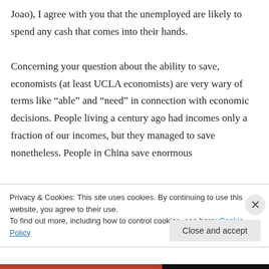Joao), I agree with you that the unemployed are likely to spend any cash that comes into their hands.

Concerning your question about the ability to save, economists (at least UCLA economists) are very wary of terms like “able” and “need” in connection with economic decisions. People living a century ago had incomes only a fraction of our incomes, but they managed to save nonetheless. People in China save enormous
Privacy & Cookies: This site uses cookies. By continuing to use this website, you agree to their use.
To find out more, including how to control cookies, see here: Cookie Policy